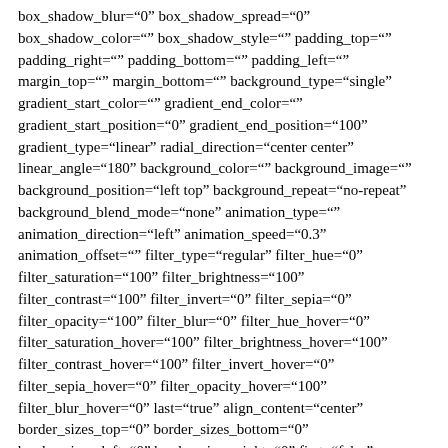box_shadow_blur="0" box_shadow_spread="0" box_shadow_color="" box_shadow_style="" padding_top="" padding_right="" padding_bottom="" padding_left="" margin_top="" margin_bottom="" background_type="single" gradient_start_color="" gradient_end_color="" gradient_start_position="0" gradient_end_position="100" gradient_type="linear" radial_direction="center center" linear_angle="180" background_color="" background_image="" background_position="left top" background_repeat="no-repeat" background_blend_mode="none" animation_type="" animation_direction="left" animation_speed="0.3" animation_offset="" filter_type="regular" filter_hue="0" filter_saturation="100" filter_brightness="100" filter_contrast="100" filter_invert="0" filter_sepia="0" filter_opacity="100" filter_blur="0" filter_hue_hover="0" filter_saturation_hover="100" filter_brightness_hover="100" filter_contrast_hover="100" filter_invert_hover="0" filter_sepia_hover="0" filter_opacity_hover="100" filter_blur_hover="0" last="true" align_content="center" border_sizes_top="0" border_sizes_bottom="0" border_sizes_left="0" border_sizes_right="0" first="false" type="2_3"][fusion_text columns="" column_min_width="" column_spacing="" rule_style="default" rule_size="" rule_color="" content_alignment_medium="" content_alignment_small="" content_alignment=""